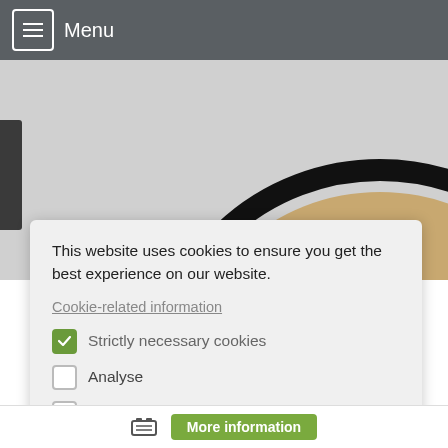Menu
[Figure (screenshot): Website screenshot showing a dark navigation bar at top with hamburger menu icon and 'Menu' text, and partially visible cookie/biscuit image in the background behind a cookie consent dialog.]
This website uses cookies to ensure you get the best experience on our website.
Cookie-related information
Strictly necessary cookies
Analyse
Marketing
Accept all
Save
More information